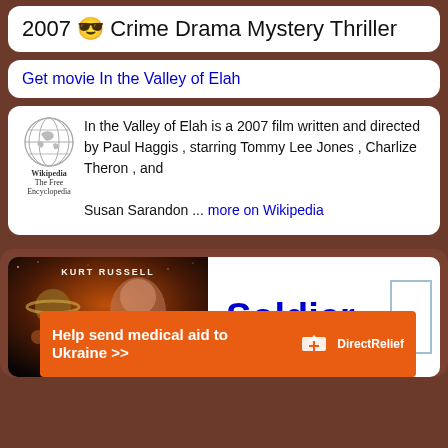2007 😎 Crime Drama Mystery Thriller
Get movie In the Valley of Elah
In the Valley of Elah is a 2007 film written and directed by Paul Haggis , starring Tommy Lee Jones , Charlize Theron , and Susan Sarandon ... more on Wikipedia
[Figure (screenshot): Movie listing for 'Soldier' with Kurt Russell poster image and title text]
[Figure (infographic): Orange advertisement banner: 'Help send medical aid to Ukraine >>' with Direct Relief logo]